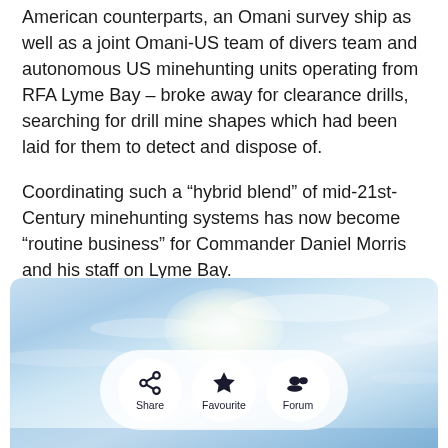American counterparts, an Omani survey ship as well as a joint Omani-US team of divers team and autonomous US minehunting units operating from RFA Lyme Bay – broke away for clearance drills, searching for drill mine shapes which had been laid for them to detect and dispose of.
Coordinating such a “hybrid blend” of mid-21st-Century minehunting systems has now become “routine business” for Commander Daniel Morris and his staff on Lyme Bay.
“The exercise offered the opportunity to command and operate conventional crewed surface mine counter-measures systems with un-crewed autonomous systems, all in the same water space,” he said.
[Figure (photo): Aerial or wide-angle photograph of a pale blue sky with a bright sun glow near the top center, horizon visible at bottom. An action/sharing toolbar overlaid at the bottom center with three circular buttons: Share (share icon), Favourite (star icon), Forum (people icon).]